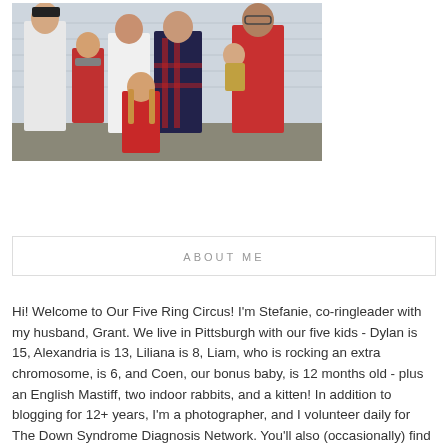[Figure (photo): Family photo showing six people - a teenage boy in white shirt and black cap on the left, a young child, a woman in white, a teenage girl in red and navy plaid, a man in red shirt holding a baby, and a young girl in red dress in front. They are posing together outdoors.]
ABOUT ME
Hi! Welcome to Our Five Ring Circus! I'm Stefanie, co-ringleader with my husband, Grant. We live in Pittsburgh with our five kids - Dylan is 15, Alexandria is 13, Liliana is 8, Liam, who is rocking an extra chromosome, is 6, and Coen, our bonus baby, is 12 months old - plus an English Mastiff, two indoor rabbits, and a kitten! In addition to blogging for 12+ years, I'm a photographer, and I volunteer daily for The Down Syndrome Diagnosis Network. You'll also (occasionally) find me on Pittsburgh Mom's Blog! When I'm not too busy wrangling